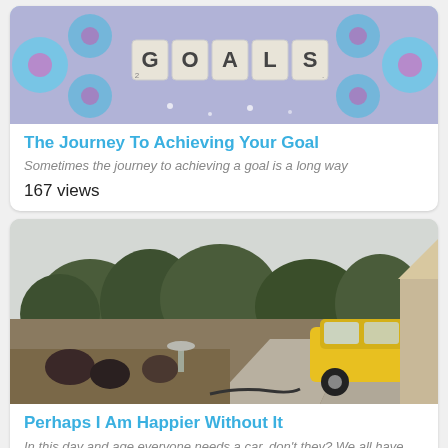[Figure (photo): Scrabble tiles spelling GOALS on a purple background with blue daisy flowers]
The Journey To Achieving Your Goal
Sometimes the journey to achieving a goal is a long way
167 views
[Figure (photo): Outdoor driveway scene with a yellow hatchback car parked near a house, garden with mulch and plants, trees in background]
Perhaps I Am Happier Without It
In this day and age everyone needs a car, don't they? We all have places to go and people to see